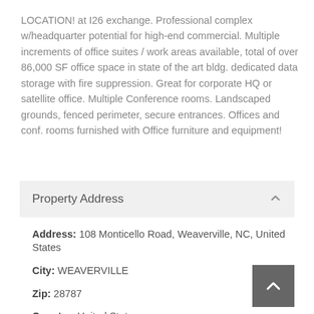LOCATION! at I26 exchange. Professional complex w/headquarter potential for high-end commercial. Multiple increments of office suites / work areas available, total of over 86,000 SF office space in state of the art bldg. dedicated data storage with fire suppression. Great for corporate HQ or satellite office. Multiple Conference rooms. Landscaped grounds, fenced perimeter, secure entrances. Offices and conf. rooms furnished with Office furniture and equipment!
Property Address
Address: 108 Monticello Road, Weaverville, NC, United States
City: WEAVERVILLE
Zip: 28787
Country: United States